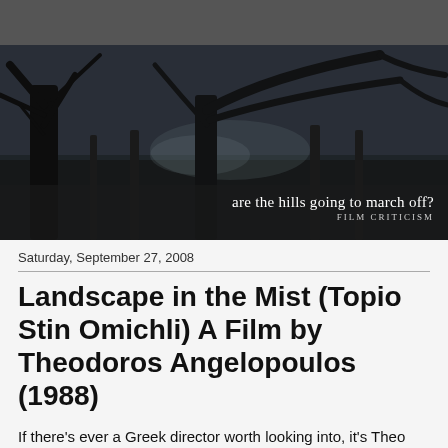[Figure (photo): Dark, moody landscape photograph showing bare winter trees in a park, black and white tones, with text overlay reading 'are the hills going to march off?' and 'FILM CRITICISM']
Saturday, September 27, 2008
Landscape in the Mist (Topio Stin Omichli) A Film by Theodoros Angelopoulos (1988)
If there's ever a Greek director worth looking into, it's Theo Angelopoulos. Upon my first viewing of his 1988 film